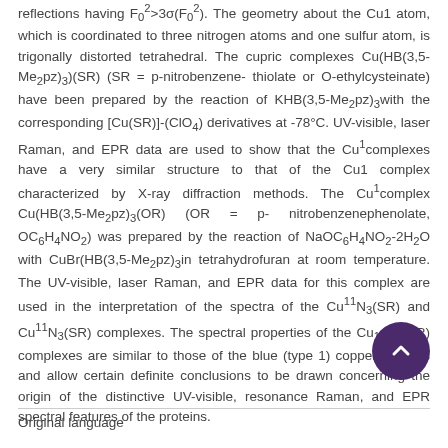reflections having F₀²>3σ(F₀²). The geometry about the Cu1 atom, which is coordinated to three nitrogen atoms and one sulfur atom, is trigonally distorted tetrahedral. The cupric complexes Cu(HB(3,5-Me₂pz)₃)(SR) (SR = p-nitrobenzene-thiolate or O-ethylcysteinate) have been prepared by the reaction of KHB(3,5-Me₂pz)₃with the corresponding [Cu(SR)]-(ClO₄) derivatives at -78°C. UV-visible, laser Raman, and EPR data are used to show that the Cu¹complexes have a very similar structure to that of the Cu1 complex characterized by X-ray diffraction methods. The Cu¹complex Cu(HB(3,5-Me₂pz)₃(OR) (OR = p-nitrobenzenephenolate, OC₆H₄NO₂) was prepared by the reaction of NaOC₆H₄NO₂-2H₂O with CuBr(HB(3,5-Me₂pz)₃in tetrahydrofuran at room temperature. The UV-visible, laser Raman, and EPR data for this complex are used in the interpretation of the spectra of the Cu¹¹N₃(SR) and Cu¹¹N₃(SR) complexes. The spectral properties of the Cu₁₁N₃(SR) complexes are similar to those of the blue (type 1) copper proteins and allow certain definite conclusions to be drawn concerning the origin of the distinctive UV-visible, resonance Raman, and EPR spectral features of the proteins.
Original language